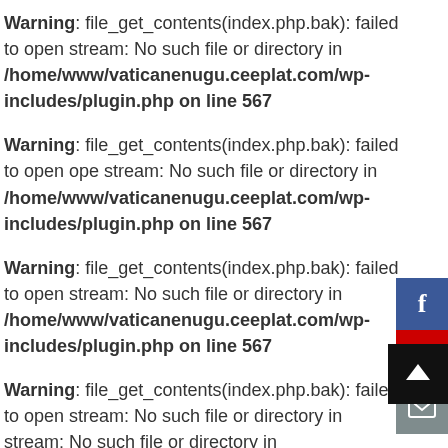Warning: file_get_contents(index.php.bak): failed to open stream: No such file or directory in /home/www/vaticanenugu.ceeplat.com/wp-includes/plugin.php on line 567
Warning: file_get_contents(index.php.bak): failed to open stream: No such file or directory in /home/www/vaticanenugu.ceeplat.com/wp-includes/plugin.php on line 567
[Figure (other): Social media sidebar with Facebook, YouTube, and email icons, plus a teal right-pointing arrow toggle]
Warning: file_get_contents(index.php.bak): failed to open stream: No such file or directory in /home/www/vaticanenugu.ceeplat.com/wp-includes/plugin.php on line 567
[Figure (other): Black back-to-top button with upward arrow]
Warning: file_get_contents(index.php.bak): failed to open stream: No such file or directory in /home/www/vaticanenugu.ceeplat.com/wp-includes/plugin.php on line 567